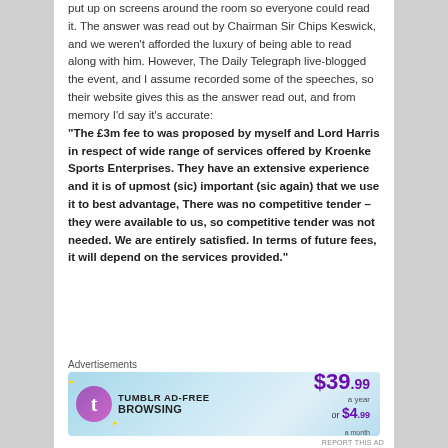put up on screens around the room so everyone could read it. The answer was read out by Chairman Sir Chips Keswick, and we weren't afforded the luxury of being able to read along with him. However, The Daily Telegraph live-blogged the event, and I assume recorded some of the speeches, so their website gives this as the answer read out, and from memory I'd say it's accurate: "The £3m fee to was proposed by myself and Lord Harris in respect of wide range of services offered by Kroenke Sports Enterprises. They have an extensive experience and it is of upmost (sic) important (sic again) that we use it to best advantage, There was no competitive tender – they were available to us, so competitive tender was not needed. We are entirely satisfied. In terms of future fees, it will depend on the services provided."
Advertisements
[Figure (other): Tumblr Ad-Free Browsing advertisement banner: $39.99 a year or $4.99 a month]